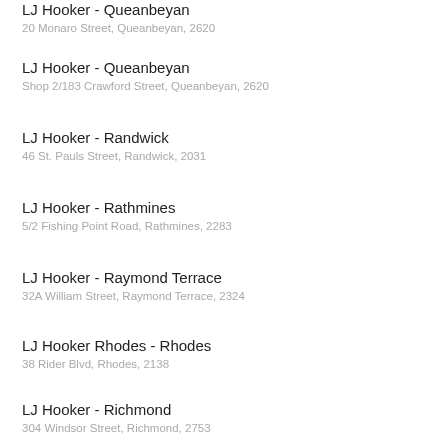LJ Hooker - Queanbeyan
20 Monaro Street, Queanbeyan, 2620
LJ Hooker - Queanbeyan
Shop 2/183 Crawford Street, Queanbeyan, 2620
LJ Hooker - Randwick
46 St. Pauls Street, Randwick, 2031
LJ Hooker - Rathmines
5/2 Fishing Point Road, Rathmines, 2283
LJ Hooker - Raymond Terrace
32A William Street, Raymond Terrace, 2324
LJ Hooker Rhodes - Rhodes
38 Rider Blvd, Rhodes, 2138
LJ Hooker - Richmond
304 Windsor Street, Richmond, 2753